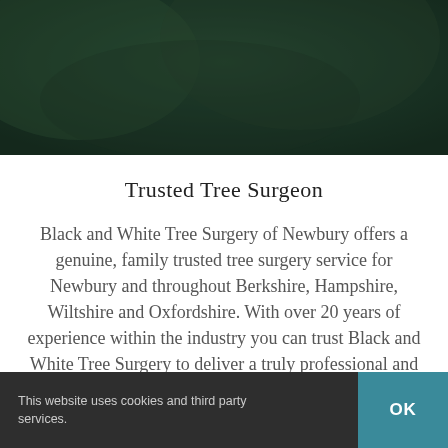[Figure (photo): Dark green blurred background image suggesting forest or tree foliage, used as a hero/banner image at the top of the webpage.]
Trusted Tree Surgeon
Black and White Tree Surgery of Newbury offers a genuine, family trusted tree surgery service for Newbury and throughout Berkshire, Hampshire, Wiltshire and Oxfordshire. With over 20 years of experience within the industry you can trust Black and White Tree Surgery to deliver a truly professional and
This website uses cookies and third party services.  OK